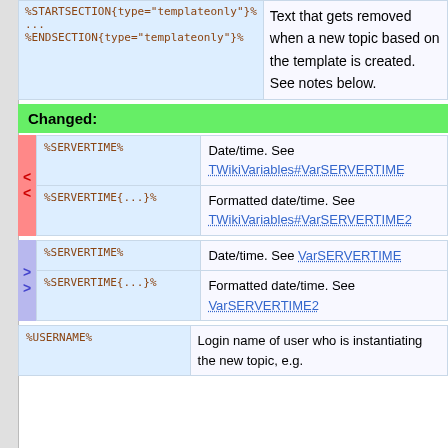| Syntax | Description |
| --- | --- |
| %STARTSECTION{type="templateonly"}%
...
%ENDSECTION{type="templateonly"}% | Text that gets removed when a new topic based on the template is created. See notes below. |
Changed:
| Syntax | Description |
| --- | --- |
| %SERVERTIME% | Date/time. See TWikiVariables#VarSERVERTIME |
| %SERVERTIME{...}% | Formatted date/time. See TWikiVariables#VarSERVERTIME2 |
| Syntax | Description |
| --- | --- |
| %SERVERTIME% | Date/time. See VarSERVERTIME |
| %SERVERTIME{...}% | Formatted date/time. See VarSERVERTIME2 |
| Syntax | Description |
| --- | --- |
| %USERNAME% | Login name of user who is instantiating the new topic, e.g. |